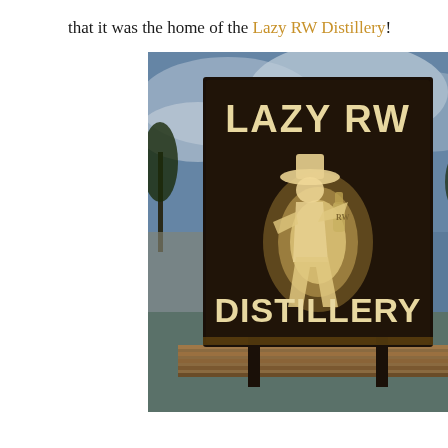that it was the home of the Lazy RW Distillery!
[Figure (photo): Illuminated outdoor sign reading 'LAZY RW DISTILLERY' with a backlit cowboy logo figure in the center, mounted on wooden posts. Cloudy dusk sky and building visible in background.]